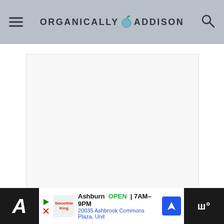ORGANICALLY ADDISON
[Figure (photo): White/light gray image placeholder area - blog article image]
FLAVOR VARIATIONS & ADD INS
This oat flour banana bread is to die for! Here are some ways to switch it up.
[Figure (infographic): Floating social buttons: heart/love button (blue circle) with count 5, and share button (white circle)]
Ashburn OPEN | 7AM–9PM  20035 Ashbrook Commons Plaza, Unit